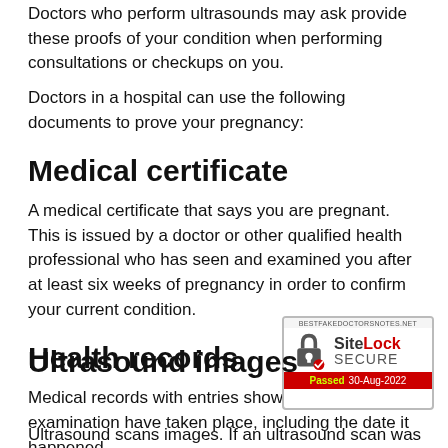Doctors who perform ultrasounds may ask provide these proofs of your condition when performing consultations or checkups on you.
Doctors in a hospital can use the following documents to prove your pregnancy:
Medical certificate
A medical certificate that says you are pregnant. This is issued by a doctor or other qualified health professional who has seen and examined you after at least six weeks of pregnancy in order to confirm your current condition.
Health records
Medical records with entries showing this examination have taken place, including the date it happened
[Figure (logo): SiteLock SECURE badge with padlock icon, passed 30-Aug-2022, from bestfakedoctorsnotes.net]
Ultrasound images
Ultrasound scans images. If an ultrasound scan was